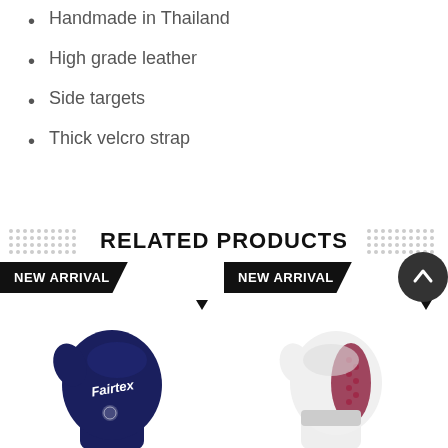Handmade in Thailand
High grade leather
Side targets
Thick velcro strap
RELATED PRODUCTS
[Figure (photo): Navy blue Fairtex boxing glove - NEW ARRIVAL]
[Figure (photo): White and red Fairtex boxing glove - NEW ARRIVAL]